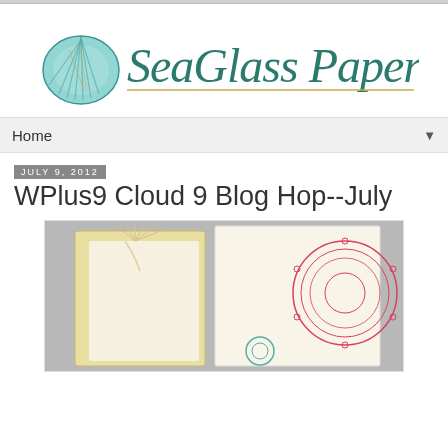[Figure (logo): SeaGlass Papercrafts logo with teal seashell and script text]
Home
July 9, 2012
WPlus9 Cloud 9 Blog Hop--July
[Figure (photo): Handmade greeting cards on a gray background — one with dried grass/twigs and one with a red doily/lace stamped design]